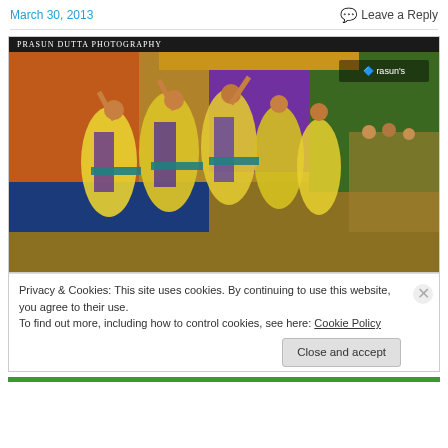March 30, 2013    Leave a Reply
[Figure (photo): Indian classical dancers in yellow and purple costumes performing on stage, watermarked 'prasun's' — photograph by Prasun Dutta Photography]
Privacy & Cookies: This site uses cookies. By continuing to use this website, you agree to their use.
To find out more, including how to control cookies, see here: Cookie Policy
Close and accept